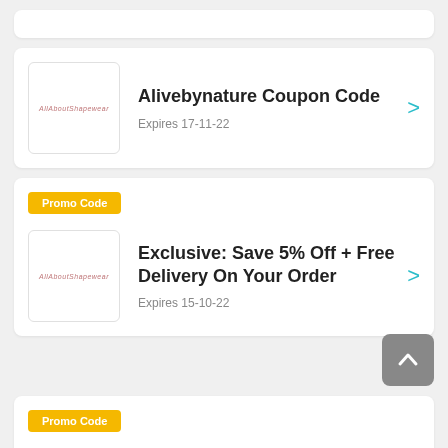Alivebynature Coupon Code — Expires 17-11-22
Promo Code — Exclusive: Save 5% Off + Free Delivery On Your Order — Expires 15-10-22
Promo Code — 20% Off & Free Delivery Waist Trainer At All